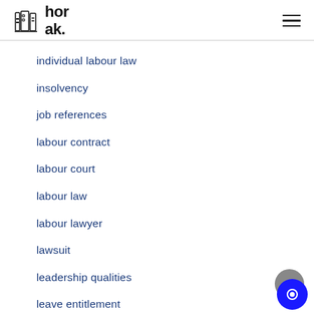horak.
individual labour law
insolvency
job references
labour contract
labour court
labour law
labour lawyer
lawsuit
leadership qualities
leave entitlement